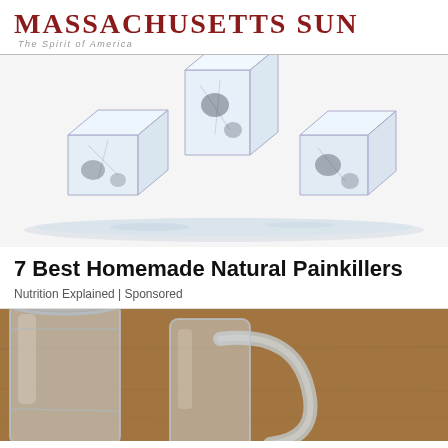Massachusetts Sun
The Spirit of America
[Figure (photo): Three clear ice cubes stacked and arranged on a white reflective surface, with water melting around them]
7 Best Homemade Natural Painkillers
Nutrition Explained | Sponsored
[Figure (photo): Close-up of glass mason jars on a wooden surface, blurred background]